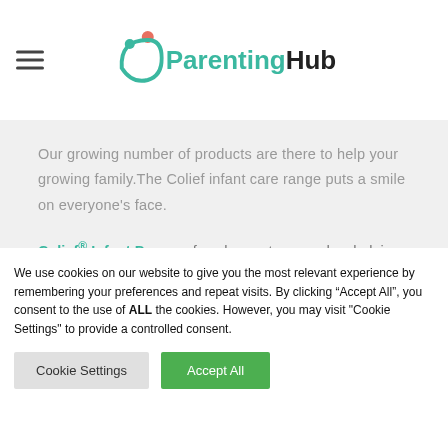[Figure (logo): ParentingHub logo with teal and coral icon above text]
Our growing number of products are there to help your growing family.The Colief infant care range puts a smile on everyone's face.
Colief® Infant Drops – for when nature needs a helping hand...
We use cookies on our website to give you the most relevant experience by remembering your preferences and repeat visits. By clicking "Accept All", you consent to the use of ALL the cookies. However, you may visit "Cookie Settings" to provide a controlled consent.
Cookie Settings | Accept All